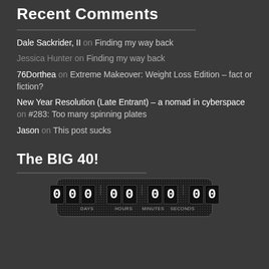Recent Comments
Dale Sackrider, II on Finding my way back
Jessica Hunter on Finding my way back
76Dorthea on Extreme Makeover: Weight Loss Edition – fact or fiction?
New Year Resolution (Late Entrant) – a nomad in cyberspace on #283: Too many spinning plates
Jason on This post sucks
The BIG 40!
[Figure (other): Countdown timer widget showing 000 days, 00 hours, 00 minutes, 00 seconds on a dark carbon-fiber background]